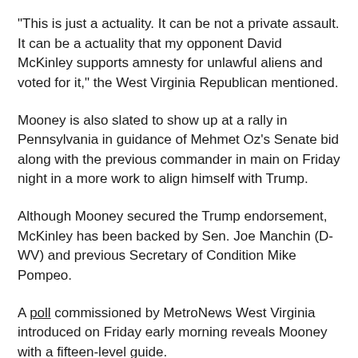“This is just a actuality. It can be not a private assault. It can be a actuality that my opponent David McKinley supports amnesty for unlawful aliens and voted for it,” the West Virginia Republican mentioned.
Mooney is also slated to show up at a rally in Pennsylvania in guidance of Mehmet Oz’s Senate bid along with the previous commander in main on Friday night in a more work to align himself with Trump.
Although Mooney secured the Trump endorsement, McKinley has been backed by Sen. Joe Manchin (D-WV) and previous Secretary of Condition Mike Pompeo.
A poll commissioned by MetroNews West Virginia introduced on Friday early morning reveals Mooney with a fifteen-level guide.
(*9*)(*2*)